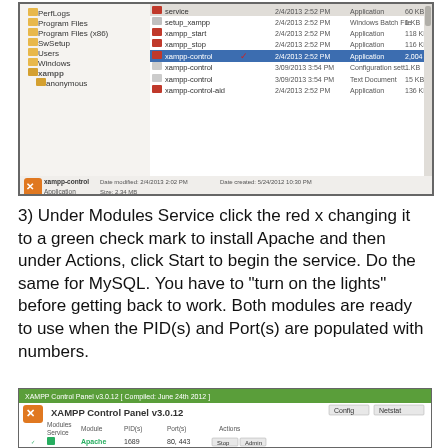[Figure (screenshot): Windows Explorer window showing XAMPP installation folder with files listed including xampp-control highlighted in blue with a red checkmark, showing file details like dates and sizes]
3) Under Modules Service click the red x changing it to a green check mark to install Apache and then under Actions, click Start to begin the service. Do the same for MySQL. You have to "turn on the lights" before getting back to work. Both modules are ready to use when the PID(s) and Port(s) are populated with numbers.
[Figure (screenshot): XAMPP Control Panel v3.0.12 showing modules: Apache (running, PID 1669, Port 80,443), MySQL (running, PID 1372, Port 3306), FileZilla, Mercury, Tomcat. Log panel at bottom shows initialization messages. Buttons: Config, Netstat, XAMPP-Shell, Explorer, Win-Services, Help, Quit.]